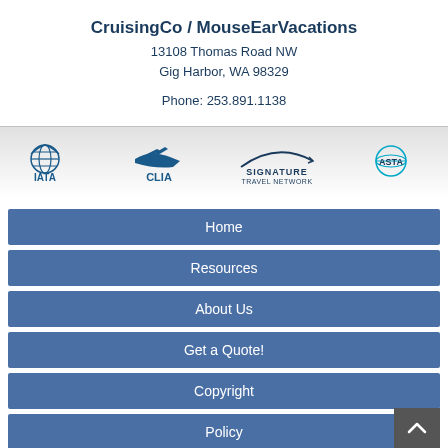CruisingCo / MouseEarVacations
13108 Thomas Road NW
Gig Harbor, WA 98329
Phone: 253.891.1138
[Figure (logo): Four organization logos: IATA, CLIA, Signature Travel Network, ASTA]
Home
Resources
About Us
Get a Quote!
Copyright
Policy